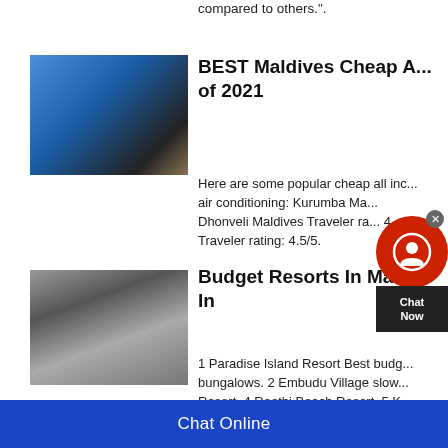compared to others.".
BEST Maldives Cheap A... of 2021
[Figure (photo): Blue industrial rock crushing machine on a road with desert background]
Here are some popular cheap all inc... air conditioning: Kurumba Ma... Dhonveli Maldives Traveler ra... 4... Traveler rating: 4.5/5.
Budget Resorts In Mald... In
[Figure (photo): Black industrial crushing machine with pile of gray gravel/aggregate]
1 Paradise Island Resort Best budg... bungalows. 2 Embudu Village slow... Resort. 4 Reethi Beach Resort. 5 K... Discover below the cheap resorts in... Resort. 6.2 Embudu Village Maldive...
Chat Online